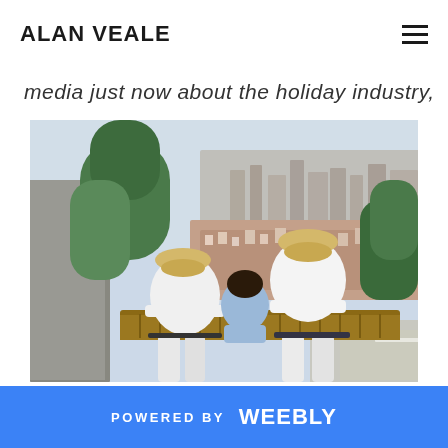ALAN VEALE
media just now about the holiday industry,
[Figure (photo): Two men in white clothing and straw hats leaning over a wicker railing with a child, overlooking a hillside city view]
POWERED BY Weebly